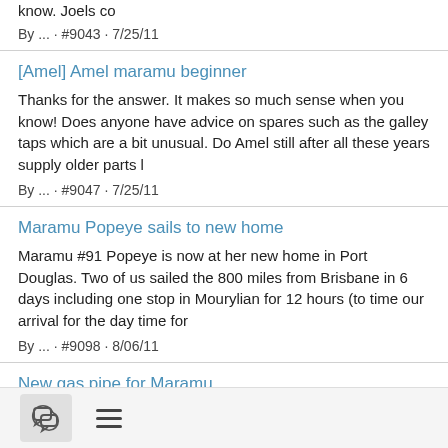know. Joels co
By ... · #9043 · 7/25/11
[Amel] Amel maramu beginner
Thanks for the answer. It makes so much sense when you know! Does anyone have advice on spares such as the galley taps which are a bit unusual. Do Amel still after all these years supply older parts l
By ... · #9047 · 7/25/11
Maramu Popeye sails to new home
Maramu #91 Popeye is now at her new home in Port Douglas. Two of us sailed the 800 miles from Brisbane in 6 days including one stop in Mourylian for 12 hours (to time our arrival for the day time for
By ... · #9098 · 8/06/11
New gas pipe for Maramu
In Australia the rigid gas piping has to be plastic coated copper or stainless steel. In order to get a gas certificate I therefore need to